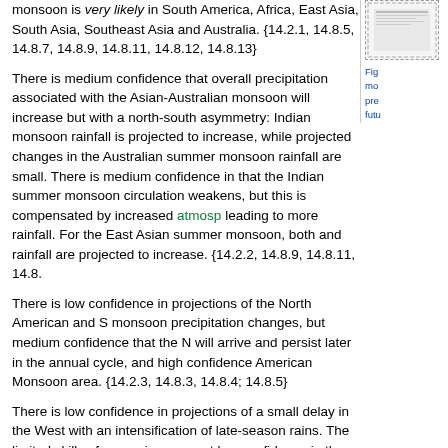monsoon is very likely in South America, Africa, East Asia, South Asia, Southeast Asia and Australia. {14.2.1, 14.8.5, 14.8.7, 14.8.9, 14.8.11, 14.8.12, 14.8.13}
There is medium confidence that overall precipitation associated with the Asian-Australian monsoon will increase but with a north-south asymmetry: Indian monsoon rainfall is projected to increase, while projected changes in the Australian summer monsoon rainfall are small. There is medium confidence in that the Indian summer monsoon circulation weakens, but this is compensated by increased atmosp leading to more rainfall. For the East Asian summer monsoon, both and rainfall are projected to increase. {14.2.2, 14.8.9, 14.8.11, 14.8...}
There is low confidence in projections of the North American and S monsoon precipitation changes, but medium confidence that the N will arrive and persist later in the annual cycle, and high confidence American Monsoon area. {14.2.3, 14.8.3, 14.8.4; 14.8.5}
There is low confidence in projections of a small delay in the West with an intensification of late-season rains. The limited skills of mo region suggest low confidence in the projections. {14.2.4, 14.8.7}
TS.5.8.2 Tropical Phenomena
[Figure (other): Small thumbnail image, partially visible, with dashed border in the right sidebar column.]
Fig... mo... pre... futu...